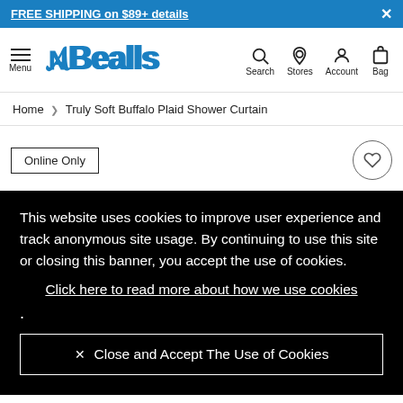FREE SHIPPING on $89+ details
[Figure (logo): Bealls logo with menu, search, stores, account, bag navigation icons]
Home > Truly Soft Buffalo Plaid Shower Curtain
Online Only
This website uses cookies to improve user experience and track anonymous site usage. By continuing to use this site or closing this banner, you accept the use of cookies.
Click here to read more about how we use cookies
.
✕ Close and Accept The Use of Cookies